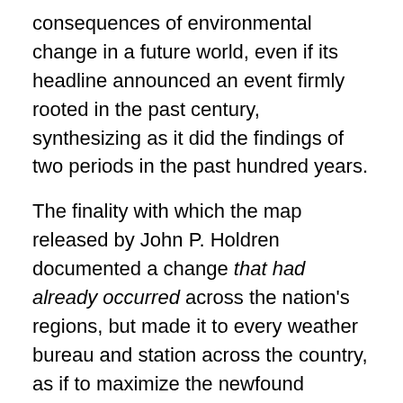consequences of environmental change in a future world, even if its headline announced an event firmly rooted in the past century, synthesizing as it did the findings of two periods in the past hundred years.
The finality with which the map released by John P. Holdren documented a change that had already occurred across the nation's regions, but made it to every weather bureau and station across the country, as if to maximize the newfound familiarity of audiences to engage meteorological maps as a way of making its own polemic (and of course partly political) point of how drastically rising temperatures stand to redraw the familiarity of the world.  Extending far beyond earlier warnings  voiced by the UN, or the pronouncements of an Inter-Governmental Panel on Climate Change whose  report documented the melting of the ice